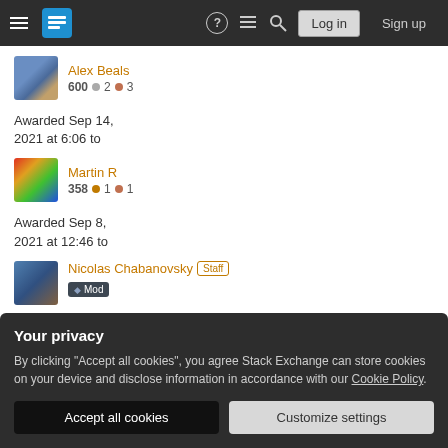Stack Exchange navigation bar with hamburger menu, logo, help, chat, search, Log in, Sign up
Alex Beals
600 ● 2 ● 3
Awarded Sep 14, 2021 at 6:06 to
Martin R
358 ● 1 ● 1
Awarded Sep 8, 2021 at 12:46 to
Nicolas Chabanovsky [Staff] [◆ Mod]
Your privacy
By clicking "Accept all cookies", you agree Stack Exchange can store cookies on your device and disclose information in accordance with our Cookie Policy.
Accept all cookies
Customize settings
Awarded Aug 31